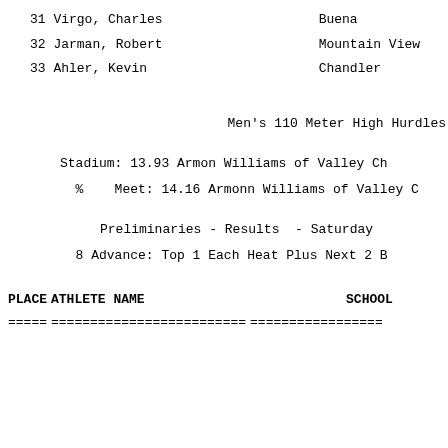31 Virgo, Charles                    Buena
32 Jarman, Robert                    Mountain View
33 Ahler, Kevin                      Chandler
Men's 110 Meter High Hurdles
Stadium: 13.93 Armon Williams of Valley Ch
%    Meet: 14.16 Armonn Williams of Valley C
Preliminaries - Results  - Saturday
8 Advance: Top 1 Each Heat Plus Next 2 B
| PLACE | ATHLETE NAME | SCHOOL |
| --- | --- | --- |